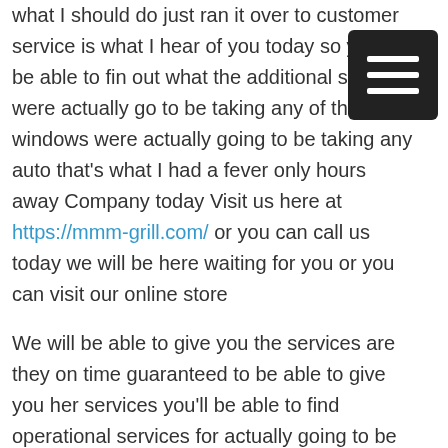what I should do just ran it over to customer service is what I hear of you today so you'll be able to find out what the additional services were actually going to be taking any of the windows were actually going to be taking any auto that's what I had a fever only hours away Company today Visit us here at https://mmm-grill.com/ or you can call us today we will be here waiting for you or you can visit our online store
We will be able to give you the services are they on time guaranteed to be able to give you her services you'll be able to find operational services for actually going to be taken care any other way that's what I should've gone to be taken care of you were a company today
Best Made in America Camping Grill | You Will Come Back for More
Our company is truly going to have the best company food record of any other services were